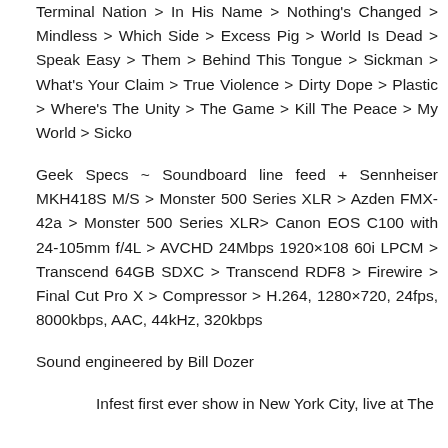Terminal Nation > In His Name > Nothing's Changed > Mindless > Which Side > Excess Pig > World Is Dead > Speak Easy > Them > Behind This Tongue > Sickman > What's Your Claim > True Violence > Dirty Dope > Plastic > Where's The Unity > The Game > Kill The Peace > My World > Sicko
Geek Specs ~ Soundboard line feed + Sennheiser MKH418S M/S > Monster 500 Series XLR > Azden FMX-42a > Monster 500 Series XLR> Canon EOS C100 with 24-105mm f/4L > AVCHD 24Mbps 1920×108 60i LPCM > Transcend 64GB SDXC > Transcend RDF8 > Firewire > Final Cut Pro X > Compressor > H.264, 1280×720, 24fps, 8000kbps, AAC, 44kHz, 320kbps
Sound engineered by Bill Dozer
Infest first ever show in New York City, live at The